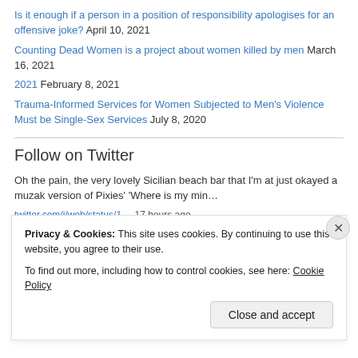Is it enough if a person in a position of responsibility apologises for an offensive joke? April 10, 2021
Counting Dead Women is a project about women killed by men March 16, 2021
2021 February 8, 2021
Trauma-Informed Services for Women Subjected to Men's Violence Must be Single-Sex Services July 8, 2020
Follow on Twitter
Oh the pain, the very lovely Sicilian beach bar that I'm at just okayed a muzak version of Pixies' 'Where is my min…
twitter.com/i/web/status/1… 17 hours ago
Privacy & Cookies: This site uses cookies. By continuing to use this website, you agree to their use. To find out more, including how to control cookies, see here: Cookie Policy